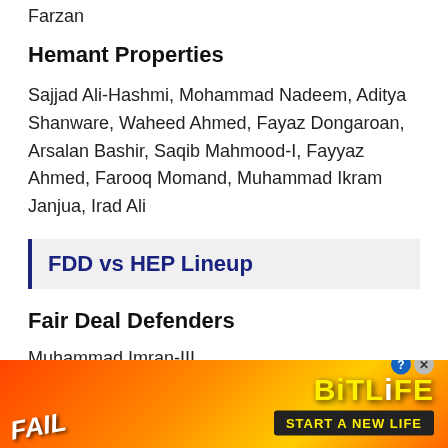Farzan
Hemant Properties
Sajjad Ali-Hashmi, Mohammad Nadeem, Aditya Shanware, Waheed Ahmed, Fayaz Dongaroan, Arsalan Bashir, Saqib Mahmood-I, Fayyaz Ahmed, Farooq Momand, Muhammad Ikram Janjua, Irad Ali
FDD vs HEP Lineup
Fair Deal Defenders
Muhammad Imran-III
Farhan babar
Saved M Saqlain
[Figure (infographic): Advertisement banner for BitLife mobile game with FAIL text and 'START A NEW LIFE' tagline on orange/red background]